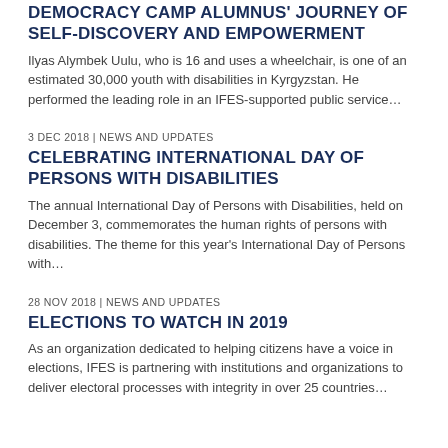DEMOCRACY CAMP ALUMNUS' JOURNEY OF SELF-DISCOVERY AND EMPOWERMENT
Ilyas Alymbek Uulu, who is 16 and uses a wheelchair, is one of an estimated 30,000 youth with disabilities in Kyrgyzstan. He performed the leading role in an IFES-supported public service…
3 DEC 2018 | NEWS AND UPDATES
CELEBRATING INTERNATIONAL DAY OF PERSONS WITH DISABILITIES
The annual International Day of Persons with Disabilities, held on December 3, commemorates the human rights of persons with disabilities. The theme for this year's International Day of Persons with…
28 NOV 2018 | NEWS AND UPDATES
ELECTIONS TO WATCH IN 2019
As an organization dedicated to helping citizens have a voice in elections, IFES is partnering with institutions and organizations to deliver electoral processes with integrity in over 25 countries…